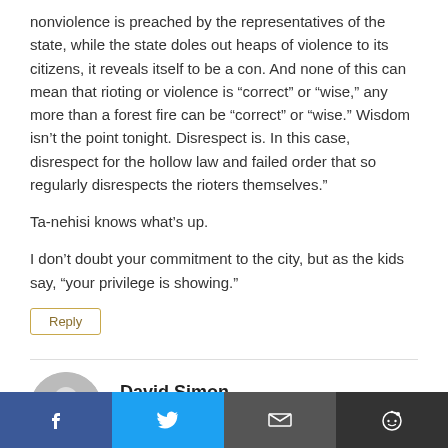nonviolence is preached by the representatives of the state, while the state doles out heaps of violence to its citizens, it reveals itself to be a con. And none of this can mean that rioting or violence is “correct” or “wise,” any more than a forest fire can be “correct” or “wise.” Wisdom isn’t the point tonight. Disrespect is. In this case, disrespect for the hollow law and failed order that so regularly disrespects the rioters themselves.”
Ta-nehisi knows what’s up.
I don’t doubt your commitment to the city, but as the kids say, “your privilege is showing.”
Reply
David Simon
April 28, 2015 at 1:27 am
[Figure (infographic): Social sharing bar with Facebook (blue), Twitter (cyan), email (dark gray), and Reddit (dark gray) buttons at the bottom of the page.]